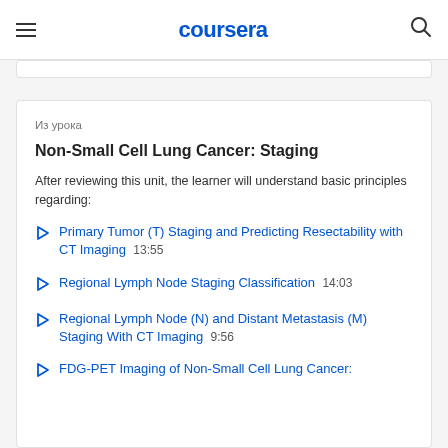coursera
Из урока
Non-Small Cell Lung Cancer: Staging
After reviewing this unit, the learner will understand basic principles regarding:
Primary Tumor (T) Staging and Predicting Resectability with CT Imaging  13:55
Regional Lymph Node Staging Classification  14:03
Regional Lymph Node (N) and Distant Metastasis (M) Staging With CT Imaging  9:56
FDG-PET Imaging of Non-Small Cell Lung Cancer: